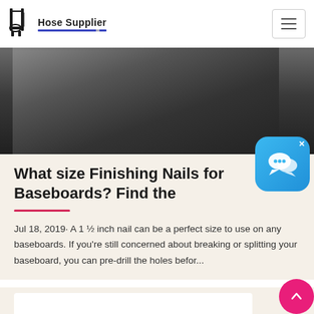Hose Supplier
[Figure (photo): Close-up photo of dark mechanical or hose equipment parts]
[Figure (other): Blue chat/messaging app icon with white speech bubbles and a close (x) button]
What size Finishing Nails for Baseboards? Find the
Jul 18, 2019· A 1 ½ inch nail can be a perfect size to use on any baseboards. If you're still concerned about breaking or splitting your baseboard, you can pre-drill the holes befor...
[Figure (screenshot): Bottom of another article card, partially visible]